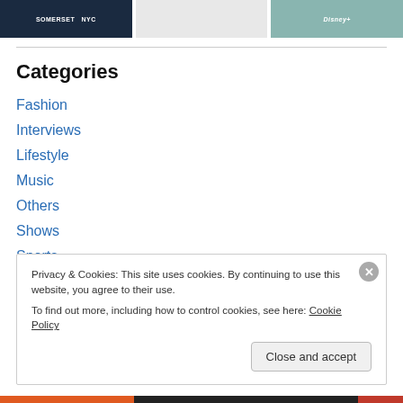[Figure (photo): Three image thumbnails in a strip: dark blue image with NYC event branding, light image with person on floor, teal/blue image with Disney+ branding]
Categories
Fashion
Interviews
Lifestyle
Music
Others
Shows
Sports
Privacy & Cookies: This site uses cookies. By continuing to use this website, you agree to their use.
To find out more, including how to control cookies, see here: Cookie Policy
Close and accept